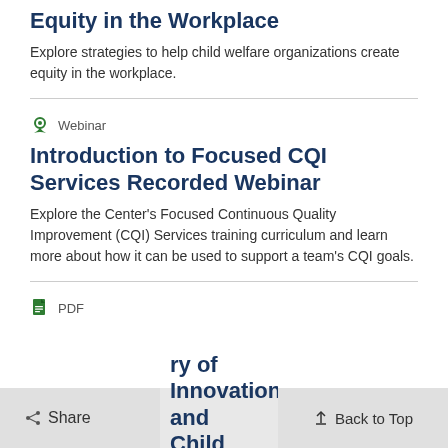Equity in the Workplace
Explore strategies to help child welfare organizations create equity in the workplace.
Webinar
Introduction to Focused CQI Services Recorded Webinar
Explore the Center's Focused Continuous Quality Improvement (CQI) Services training curriculum and learn more about how it can be used to support a team's CQI goals.
PDF
...ry of Innovation and Child Welfare
Share
Back to Top